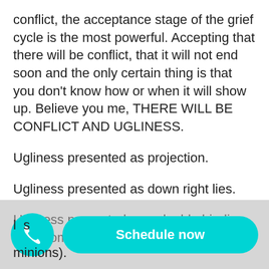conflict, the acceptance stage of the grief cycle is the most powerful. Accepting that there will be conflict, that it will not end soon and the only certain thing is that you don’t know how or when it will show up. Believe you me, THERE WILL BE CONFLICT AND UGLINESS.
Ugliness presented as projection.
Ugliness presented as down right lies.
Ugliness presented as a double binding compromise (all in their favor).
[Figure (screenshot): Mobile app UI overlay at bottom with a cyan circular phone button and a cyan 'Schedule now' pill button. Partial text visible beneath: partial word starting with 'l' then 's' and 'minions).' at very bottom.]